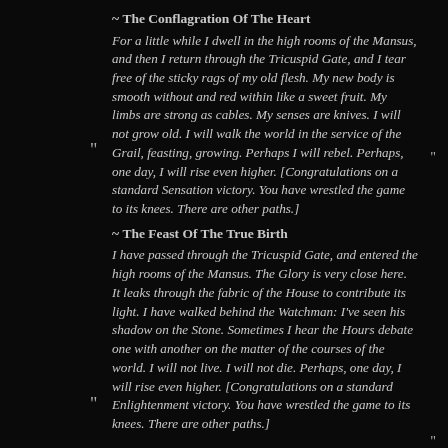~ The Conflagration Of The Heart
For a little while I dwell in the high rooms of the Mansus, and then I return through the Tricuspid Gate, and I tear free of the sticky rags of my old flesh. My new body is smooth without and red within like a sweet fruit. My limbs are strong as cables. My senses are knives. I will not grow old. I will walk the world in the service of the Grail, feasting, growing. Perhaps I will rebel. Perhaps, one day, I will rise even higher. [Congratulations on a standard Sensation victory. You have wrestled the game to its knees. There are other paths.]
~ The Feast Of The True Birth
I have passed through the Tricuspid Gate, and entered the high rooms of the Mansus. The Glory is very close here. It leaks through the fabric of the House to contribute its light. I have walked behind the Watchman: I've seen his shadow on the Stone. Sometimes I hear the Hours debate one with another on the matter of the courses of the world. I will not live. I will not die. Perhaps, one day, I will rise even higher. [Congratulations on a standard Enlightenment victory. You have wrestled the game to its knees. There are other paths.]